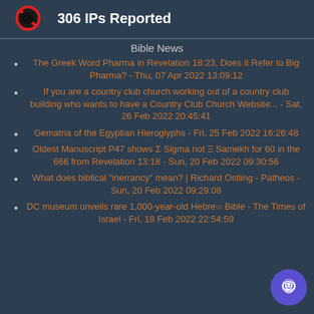306 IPs Reported
Bible News
The Greek Word Pharma in Revelation 18:23, Does it Refer to Big Pharma? - Thu, 07 Apr 2022 13:09:12
If you are a country club church working out of a country club building who wants to have a Country Club Church Website... - Sat, 26 Feb 2022 20:45:41
Gematria of the Egyptian Hieroglyphs - Fri, 25 Feb 2022 16:26:48
Oldest Manuscript P47 shows Σ Sigma not Ξ Samekh for 60 in the 666 from Revelation 13:18 - Sun, 20 Feb 2022 09:30:56
What does biblical "inerrancy" mean? | Richard Ostling - Patheos - Sun, 20 Feb 2022 09:29:08
DC museum unveils rare 1,000-year-old Hebrew Bible - The Times of Israel - Fri, 18 Feb 2022 22:54:59